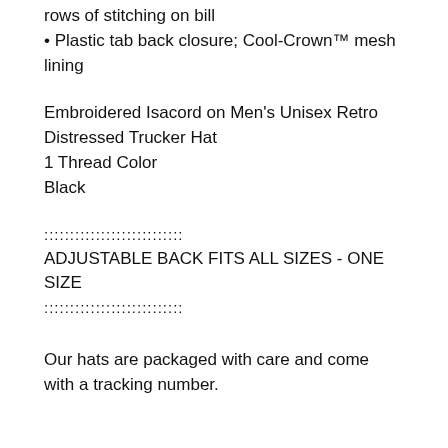• Plastic tab back closure; Cool-Crown™ mesh lining
Embroidered Isacord on Men's Unisex Retro Distressed Trucker Hat
1 Thread Color
Black
::::::::::::::::::::::::::::
ADJUSTABLE BACK FITS ALL SIZES - ONE SIZE
::::::::::::::::::::::::::::
Our hats are packaged with care and come with a tracking number.